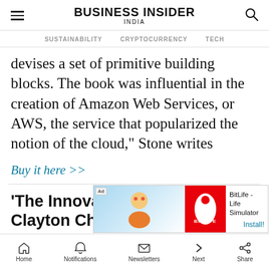BUSINESS INSIDER INDIA
SUSTAINABILITY  CRYPTOCURRENCY  TECH
devises a set of primitive building blocks. The book was influential in the creation of Amazon Web Services, or AWS, the service that popularized the notion of the cloud," Stone writes
Buy it here >>
'The Innovator's Dilemma' by Clayton Chris
[Figure (screenshot): Advertisement banner for BitLife - Life Simulator app with Ad label, cartoon image on left, red BitLife logo on right, and Install! button]
Home  Notifications  Newsletters  Next  Share